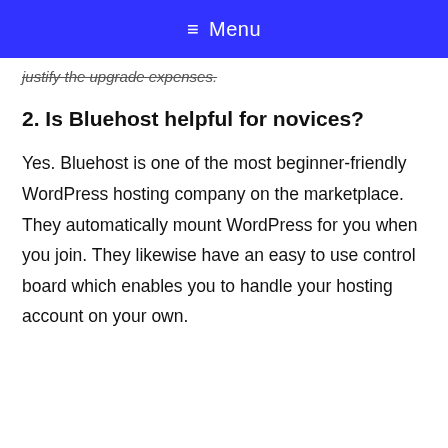≡ Menu
justify the upgrade expenses.
2. Is Bluehost helpful for novices?
Yes. Bluehost is one of the most beginner-friendly WordPress hosting company on the marketplace. They automatically mount WordPress for you when you join. They likewise have an easy to use control board which enables you to handle your hosting account on your own.